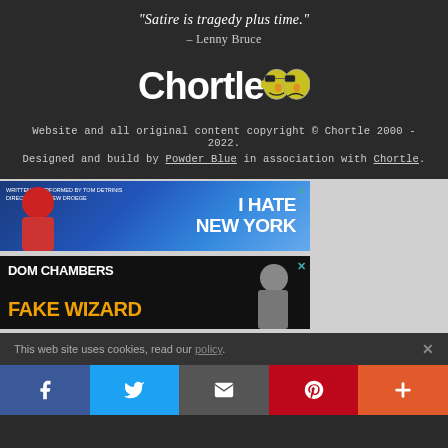"Satire is tragedy plus time."
– Lenny Bruce
[Figure (logo): Chortle comedy website logo with comedy/tragedy mask icon]
Website and all original content copyright © Chortle 2000 - 2022.
Designed and build by Powder Blue in association with Chortle.
[Figure (other): Advertisement banner: Tom Detrinis / Drew Droege 'I Hate New York' show]
[Figure (other): Advertisement banner: Dom Chambers Fake Wizard]
This web site uses cookies, read our policy.
[Figure (other): Social share bar with Facebook, Twitter, Email, Pinterest, and More buttons]